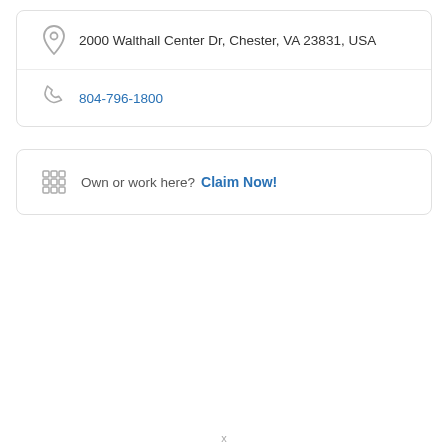2000 Walthall Center Dr, Chester, VA 23831, USA
804-796-1800
Own or work here? Claim Now!
x